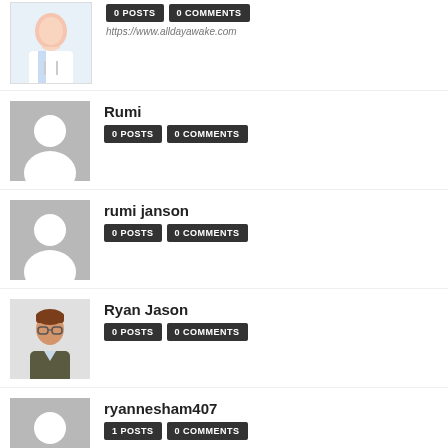[Figure (photo): Doctor avatar - female doctor with stethoscope]
0 POSTS  0 COMMENTS
https://www.alldayawake.com
[Figure (illustration): Generic grey silhouette avatar]
Rumi
0 POSTS  0 COMMENTS
[Figure (illustration): Generic grey silhouette avatar]
rumi janson
0 POSTS  0 COMMENTS
[Figure (illustration): Illustrated avatar of a man with glasses and brown hair]
Ryan Jason
0 POSTS  0 COMMENTS
[Figure (illustration): Generic grey silhouette avatar]
ryannesham407
1 POSTS  0 COMMENTS
[Figure (photo): Photo of SEO Expert Munawar]
SEO Expert Munawar